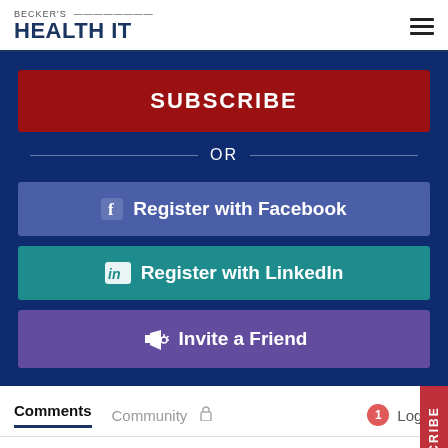BECKER'S HEALTH IT
SUBSCRIBE
OR
f  Register with Facebook
in  Register with LinkedIn
Invite a Friend
Comments
Community
Login
Favorite
Sort by Oldest
SUBSCRIBE